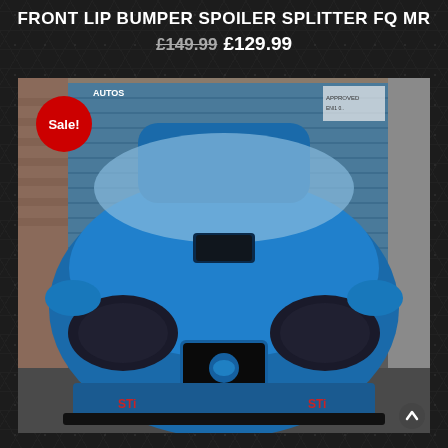FRONT LIP BUMPER SPOILER SPLITTER FQ MR
£149.99 £129.99
[Figure (photo): Front view of a blue Subaru Impreza WRX STI with a front lip bumper spoiler splitter installed. The car is parked in front of a blue roller shutter garage door. A red 'Sale!' badge is overlaid in the top-left corner of the image.]